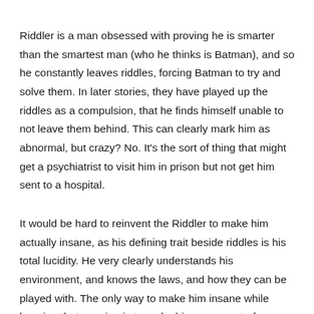Riddler is a man obsessed with proving he is smarter than the smartest man (who he thinks is Batman), and so he constantly leaves riddles, forcing Batman to try and solve them. In later stories, they have played up the riddles as a compulsion, that he finds himself unable to not leave them behind. This can clearly mark him as abnormal, but crazy? No. It's the sort of thing that might get a psychiatrist to visit him in prison but not get him sent to a hospital.
It would be hard to reinvent the Riddler to make him actually insane, as his defining trait beside riddles is his total lucidity. He very clearly understands his environment, and knows the laws, and how they can be played with. The only way to make him insane while keeping that cunning is to make him some sort of solipsist who believes that no one is actually real except him and Batman. It would explain why he is so